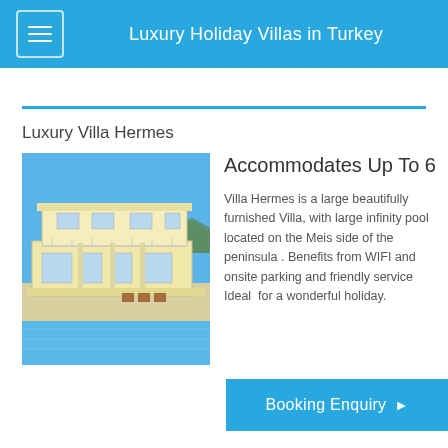Luxury Holiday Villas in Turkey
Luxury Villa Hermes
[Figure (photo): Exterior photo of Villa Hermes, a two-story white/cream villa with balconies, terrace, outdoor furniture, and a blue infinity pool in the foreground, with mountains and blue sky in the background.]
Accommodates Up To 6
Villa Hermes is a large beautifully furnished Villa, with large infinity pool located on the Meis side of the peninsula . Benefits from WIFI and onsite parking and friendly service Ideal  for a wonderful holiday.
Booking Enquiry